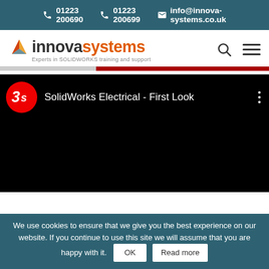01223 200690 | 01223 200699 | info@innova-systems.co.uk
[Figure (logo): Innova Systems logo with triangle arrow graphic, text 'innovasystems' and tagline 'Experts in SOLIDWORKS training and support']
[Figure (screenshot): YouTube video thumbnail showing 'SolidWorks Electrical - First Look' with 3DS logo (red circle) and black video area]
We use cookies to ensure that we give you the best experience on our website. If you continue to use this site we will assume that you are happy with it. OK | Read more